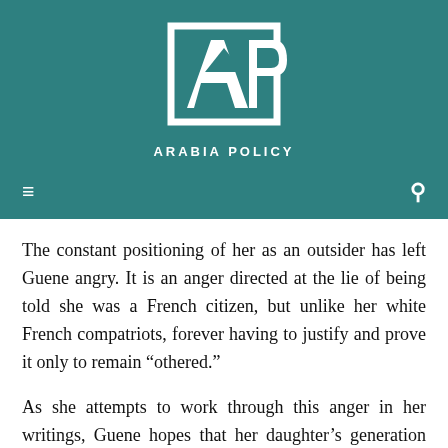[Figure (logo): Arabia Policy logo — white geometric AP lettermark inside a square bracket frame, with 'ARABIA POLICY' text beneath, on teal background]
The constant positioning of her as an outsider has left Guene angry. It is an anger directed at the lie of being told she was a French citizen, but unlike her white French compatriots, forever having to justify and prove it only to remain “othered.”
As she attempts to work through this anger in her writings, Guene hopes that her daughter’s generation will be able to overcome the prejudice the first generation of French-born